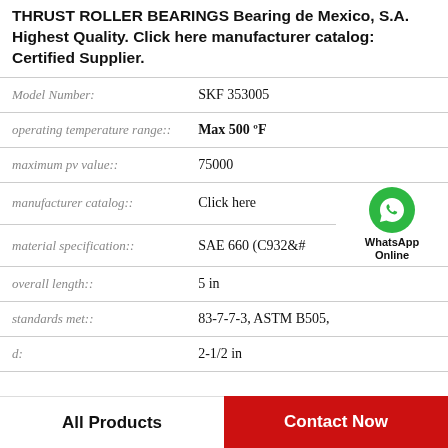THRUST ROLLER BEARINGS Bearing de Mexico, S.A. Highest Quality. Click here manufacturer catalog: Certified Supplier.
| Attribute | Value |
| --- | --- |
| Model Number: | SKF 353005 |
| operating temperature range:: | Max 500 ºF |
| maximum pv value:: | 75000 |
| manufacturer catalog:: | Click here |
| material specification:: | SAE 660 (C932&# |
| overall length:: | 5 in |
| standards met:: | 83-7-7-3, ASTM B505, |
| d: | 2-1/2 in |
[Figure (logo): WhatsApp green circle icon with phone handset, labeled WhatsApp Online]
All Products
Contact Now